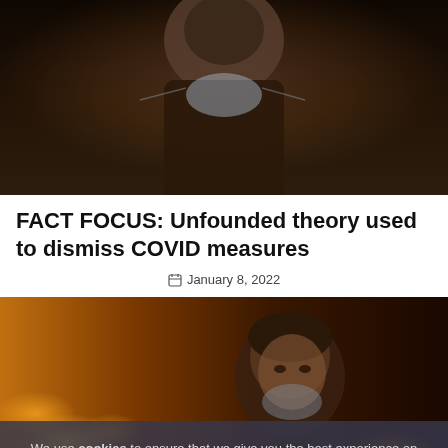[Figure (photo): A person wearing a face mask photographed from below against a dark background]
FACT FOCUS: Unfounded theory used to dismiss COVID measures
January 8, 2022
[Figure (photo): A woman wearing a face mask photographed at night with bokeh city lights in the background]
We use cookies to ensure that we give you the best experience on our website. If you continue to use this site we will assume that you are happy with it.